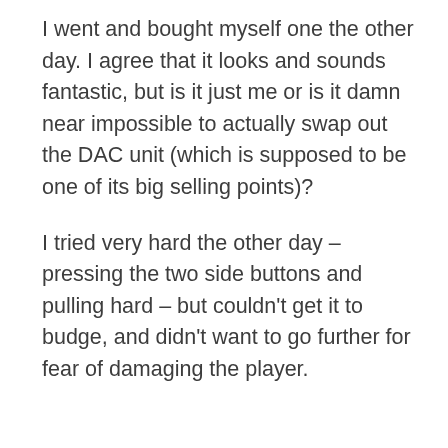I went and bought myself one the other day. I agree that it looks and sounds fantastic, but is it just me or is it damn near impossible to actually swap out the DAC unit (which is supposed to be one of its big selling points)?
I tried very hard the other day – pressing the two side buttons and pulling hard – but couldn't get it to budge, and didn't want to go further for fear of damaging the player.
AUGUST 19, 2021
REPLY
CARLO
[Figure (screenshot): Victoria's Secret advertisement banner with model photo, VS logo, 'SHOP THE COLLECTION' text, and 'SHOP NOW' button on black background]